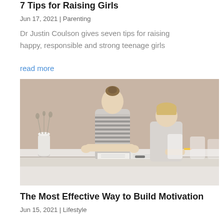7 Tips for Raising Girls
Jun 17, 2021 | Parenting
Dr Justin Coulson gives seven tips for raising happy, responsible and strong teenage girls
read more
[Figure (photo): A teenage girl with hair in a bun leans over a table helping a younger blonde boy with reading or writing from a book. Light-colored background, minimalist setting with a white vase of dried flowers.]
The Most Effective Way to Build Motivation
Jun 15, 2021 | Lifestyle
If...